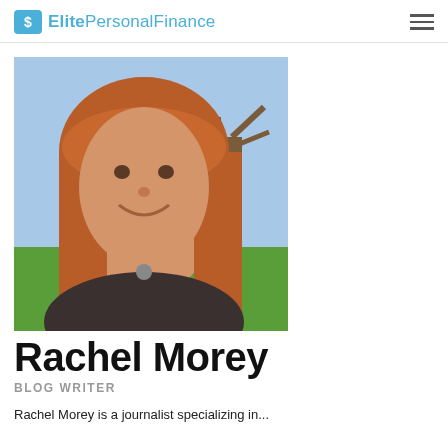ElitePersonalFinance
[Figure (photo): Portrait photo of Rachel Morey, a woman with long red/auburn hair smiling, outdoors with trees and grass in background.]
Rachel Morey
BLOG WRITER
Rachel Morey is a journalist specializing in...